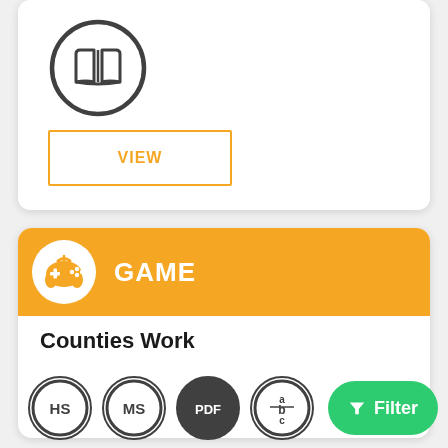[Figure (illustration): Partial top card showing a book icon inside a gray circle]
VIEW
[Figure (illustration): Game section header with orange background, game controller icon in white circle, and bold white text 'GAME']
Counties Work
[Figure (illustration): Row of circular badge icons: HS, MS, PDF, abc/bc, and a green Filter button, plus partial book icon at bottom]